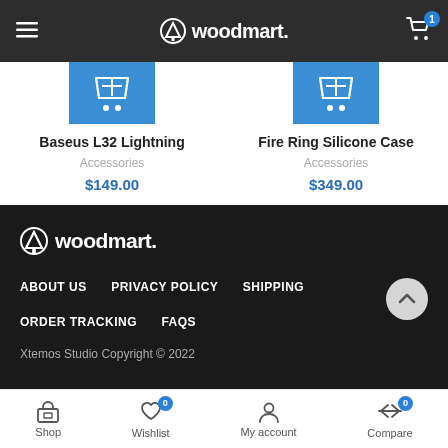woodmart.
Baseus L32 Lightning
Accessories
$149.00
Fire Ring Silicone Case
Accessories
$349.00
[Figure (logo): Woodmart logo in footer - tree icon with woodmart. text]
ABOUT US
PRIVACY POLICY
SHIPPING
ORDER TRACKING
FAQS
Xtemos Studio Copyright © 2022
Shop  Wishlist 0  My account  Compare 0